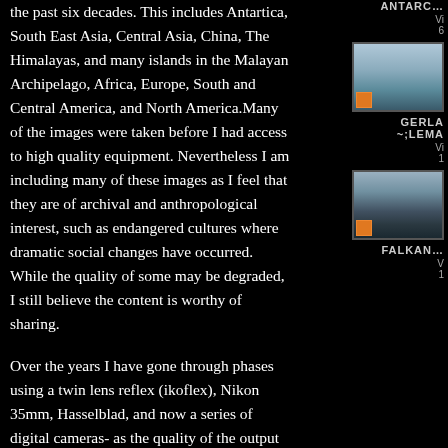the past six decades. This includes Antartica, South East Asia, Central Asia, China, The Himalayas, and many islands in the Malayan Archipelago, Africa, Europe, South and Central America, and North America.Many of the images were taken before I had access to high quality equipment. Nevertheless I am including many of these images as I feel that they are of archival and anthropological interest, such as endangered cultures where dramatic social changes have occurred. While the quality of some may be degraded, I still believe the content is worthy of sharing.
Over the years I have gone through phases using a twin lens reflex (ikoflex), Nikon 35mm, Hasselblad, and now a series of digital cameras- as the quality of the output has been improved. Now my camera of choice is
ANTARC...
Vi
6
[Figure (photo): Small thumbnail photograph showing sky/seascape scene]
GERLA~;LEMA
Vi
1
[Figure (photo): Small thumbnail photograph showing dark landscape/seascape scene]
FALKAN...
V
1